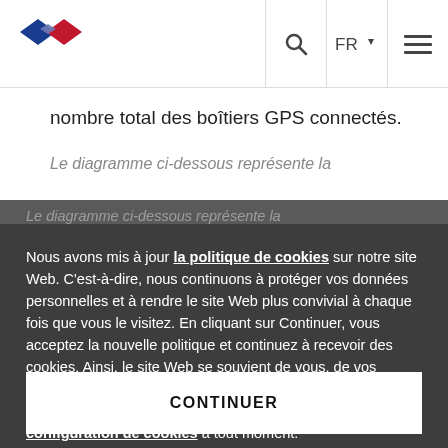[Figure (logo): Thales group logo — blue and red overlapping diamond shapes]
nombre total des boîtiers GPS connectés.
Le diagramme ci-dessous représente la
Nous avons mis à jour la politique de cookies sur notre site Web. C'est-à-dire, nous continuons à protéger vos données personnelles et à rendre le site Web plus convivial à chaque fois que vous le visitez. En cliquant sur Continuer, vous acceptez la nouvelle politique et continuez à recevoir des cookies. Ainsi, le site Web se souvient de vous, de vos préférences et de vos actions pour personnaliser votre expérience de navigation. Sinon, vous pouvez changer la configuration de cookies à tout moment.
CONTINUER